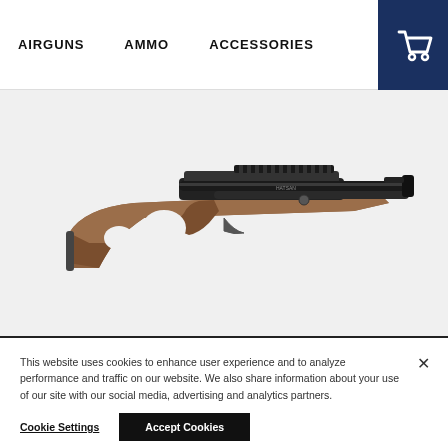AIRGUNS   AMMO   ACCESSORIES
[Figure (photo): A PCP air rifle with a wooden thumbhole stock (brown walnut) and black metal components including scope rail, barrel, and action, shown in profile against a light gray background.]
This website uses cookies to enhance user experience and to analyze performance and traffic on our website. We also share information about your use of our site with our social media, advertising and analytics partners.
Cookie Settings   Accept Cookies